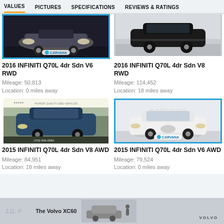VALUES   PICTURES   SPECIFICATIONS   REVIEWS & RATINGS
[Figure (photo): 2016 INFINITI Q70L front view with Carvana branding, blue border]
2016 INFINITI Q70L 4dr Sdn V6 RWD
Mileage: 50,813
Location: 0 miles away
[Figure (photo): 2016 INFINITI Q70L rear/side view, dark color]
2016 INFINITI Q70L 4dr Sdn V8 RWD
Mileage: 114,452
Location: 18 miles away
[Figure (photo): 2015 INFINITI Q70L dark blue, dealer lot photo with (703) 849-0080 branding]
2015 INFINITI Q70L 4dr Sdn V8 AWD
Mileage: 84,951
Location: 18 miles away
[Figure (photo): 2015 INFINITI Q70L white, Carvana photo with blue border]
2015 INFINITI Q70L 4dr Sdn V6 AWD
Mileage: 79,524
Location: 0 miles away
[Figure (photo): Volvo XC60 advertisement banner at bottom]
J.D. P   The Volvo XC60   VOLVO